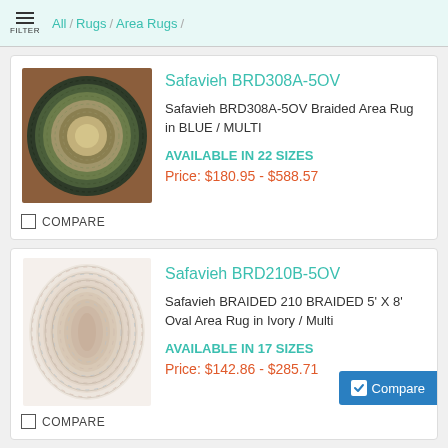FILTER / All / Rugs / Area Rugs /
[Figure (photo): Oval braided area rug in blue/multi colors, dark green and tan tones, on a wooden surface]
Safavieh BRD308A-5OV
Safavieh BRD308A-5OV Braided Area Rug in BLUE / MULTI
AVAILABLE IN 22 SIZES
Price: $180.95 - $588.57
COMPARE
[Figure (photo): Oval braided area rug in ivory/multi colors, light cream tones with subtle pastel threads]
Safavieh BRD210B-5OV
Safavieh BRAIDED 210 BRAIDED 5' X 8' Oval Area Rug in Ivory / Multi
AVAILABLE IN 17 SIZES
Price: $142.86 - $285.71
COMPARE